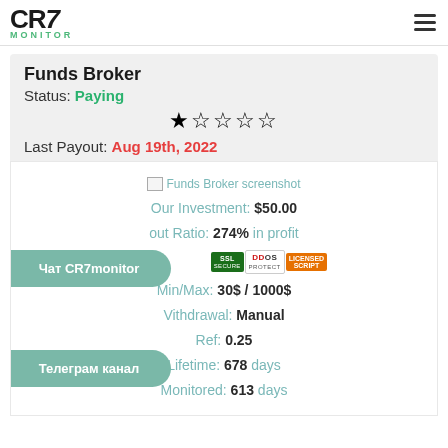CR7 MONITOR
Funds Broker
Status: Paying
[Figure (other): 5 gold/outline stars rating]
Last Payout: Aug 19th, 2022
[Figure (screenshot): Funds Broker screenshot placeholder image]
Our Investment: $50.00
Payout Ratio: 274% in profit
[Figure (logo): SSL Secure, DDOS Protect, Licensed Script badges]
Min/Max: 30$ / 1000$
Withdrawal: Manual
Ref: 0.25
Lifetime: 678 days
Monitored: 613 days